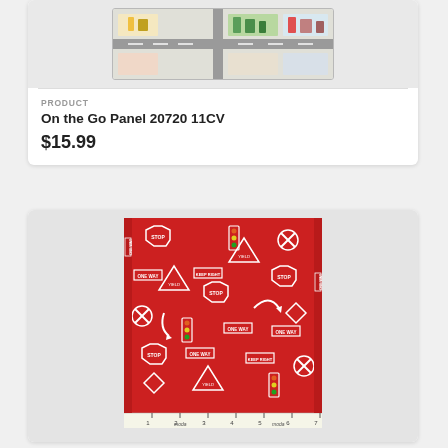[Figure (photo): Top portion of a fabric panel showing a city map/play mat design with roads, buildings, and trees on a light background. Partially cropped at top.]
PRODUCT
On the Go Panel 20720 11CV
$15.99
[Figure (photo): Red fabric with white traffic/road signs pattern including STOP signs, YIELD signs, ONE WAY signs, railroad crossing signs, traffic lights, and directional arrows. Fabric shown with a ruler at the bottom. Moda brand label visible.]